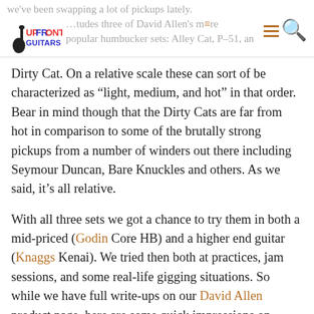we've been swapping a lot of pickups lately. [logo: Upfront Guitars] ...tudes three of David Allen's more popular humbucker sets: Alley Cat, P-51, and
Dirty Cat. On a relative scale these can sort of be characterized as “light, medium, and hot” in that order. Bear in mind though that the Dirty Cats are far from hot in comparison to some of the brutally strong pickups from a number of winders out there including Seymour Duncan, Bare Knuckles and others. As we said, it’s all relative.
With all three sets we got a chance to try them in both a mid-priced (Godin Core HB) and a higher end guitar (Knaggs Kenai). We tried then both at practices, jam sessions, and some real-life gigging situations. So while we have full write-ups on our David Allen product page, here are some quick impressions on living with